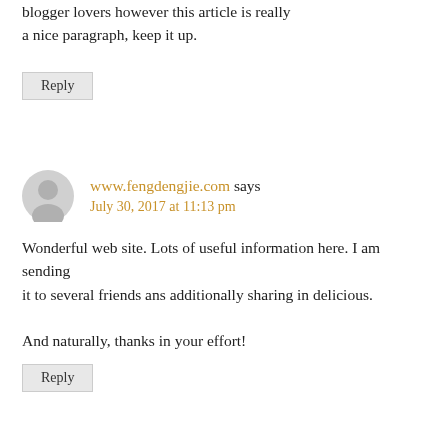blogger lovers however this article is really a nice paragraph, keep it up.
Reply
www.fengdengjie.com says
July 30, 2017 at 11:13 pm
Wonderful web site. Lots of useful information here. I am sending it to several friends ans additionally sharing in delicious.

And naturally, thanks in your effort!
Reply